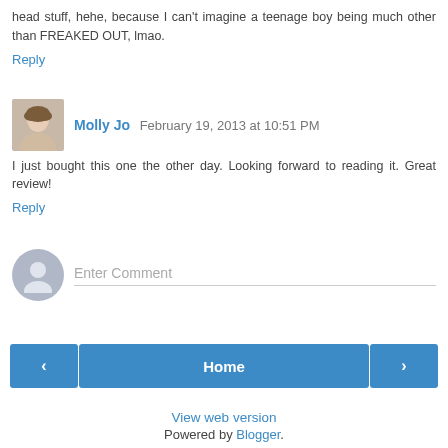head stuff, hehe, because I can't imagine a teenage boy being much other than FREAKED OUT, lmao.
Reply
Molly Jo  February 19, 2013 at 10:51 PM
I just bought this one the other day. Looking forward to reading it. Great review!
Reply
Enter Comment
Home
View web version
Powered by Blogger.